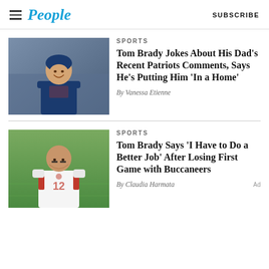People | SUBSCRIBE
[Figure (photo): Tom Brady smiling in New England Patriots uniform]
SPORTS
Tom Brady Jokes About His Dad's Recent Patriots Comments, Says He's Putting Him 'In a Home'
By Vanessa Etienne
[Figure (photo): Tom Brady in Tampa Bay Buccaneers uniform looking serious on field]
SPORTS
Tom Brady Says 'I Have to Do a Better Job' After Losing First Game with Buccaneers
By Claudia Harmata